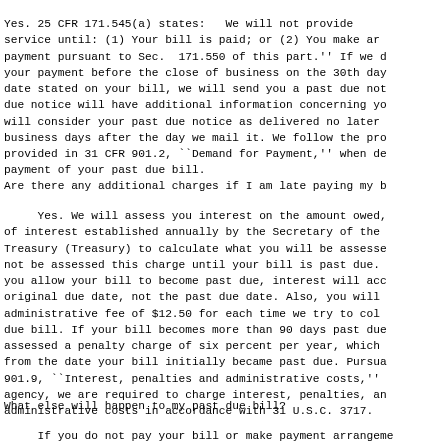Yes. 25 CFR 171.545(a) states: ``We will not provide service until: (1) Your bill is paid; or (2) You make an payment pursuant to Sec. 171.550 of this part.'' If we d your payment before the close of business on the 30th da date stated on your bill, we will send you a past due no due notice will have additional information concerning yo will consider your past due notice as delivered no later business days after the day we mail it. We follow the pr provided in 31 CFR 901.2, ``Demand for Payment,'' when d payment of your past due bill.
Are there any additional charges if I am late paying my b
Yes. We will assess you interest on the amount owed, of interest established annually by the Secretary of the Treasury (Treasury) to calculate what you will be assesse not be assessed this charge until your bill is past due. you allow your bill to become past due, interest will ac original due date, not the past due date. Also, you will administrative fee of $12.50 for each time we try to col due bill. If your bill becomes more than 90 days past du assessed a penalty charge of six percent per year, which from the date your bill initially became past due. Pursu 901.9, ``Interest, penalties and administrative costs,'' agency, we are required to charge interest, penalties, a administrative costs in accordance with 31 U.S.C. 3717.
What else will happen to my past due bill?
If you do not pay your bill or make payment arrangeme